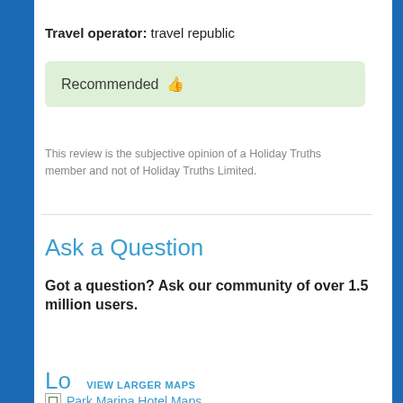Travel operator: travel republic
Recommended 👍
This review is the subjective opinion of a Holiday Truths member and not of Holiday Truths Limited.
Ask a Question
Got a question? Ask our community of over 1.5 million users.
Post your question
Lo VIEW LARGER MAPS
Park Marina Hotel Maps